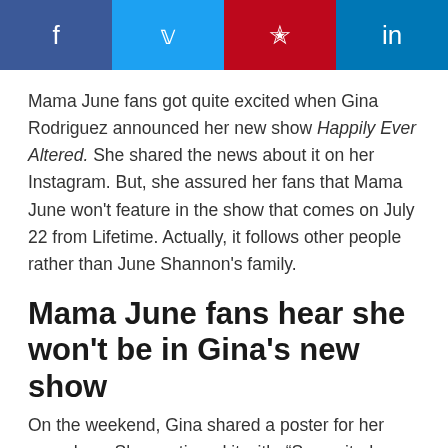[Figure (other): Social media share bar with Facebook, Twitter, Pinterest, and LinkedIn buttons]
Mama June fans got quite excited when Gina Rodriguez announced her new show Happily Ever Altered. She shared the news about it on her Instagram. But, she assured her fans that Mama June won't feature in the show that comes on July 22 from Lifetime. Actually, it follows other people rather than June Shannon's family.
Mama June fans hear she won't be in Gina's new show
On the weekend, Gina shared a poster for her new show. She captioned it with, “So excited about this one! Follow Alexa and Matt on their makeover journeys to marriage on our NEW show “Happily Ever Altered.’” One fan asked, “Is June and the rest going to be on it?” Gina replied saying,